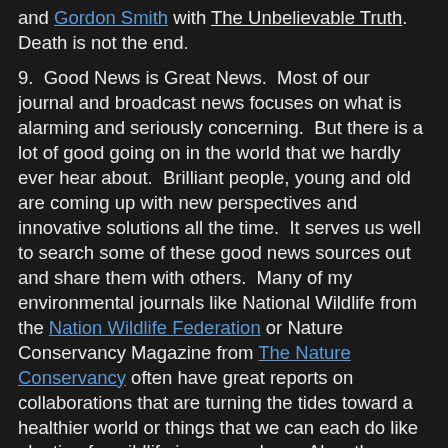and Gordon Smith with The Unbelievable Truth. Death is not the end.
9.  Good News is Great News.  Most of our journal and broadcast news focuses on what is alarming and seriously concerning.  But there is a lot of good going on in the world that we hardly ever hear about.  Brilliant people, young and old are coming up with new perspectives and innovative solutions all the time.  It serves us well to search some of these good news sources out and share them with others.  Many of my environmental journals like National Wildlife from the Nation Wildlife Federation or Nature Conservancy Magazine from The Nature Conservancy often have great reports on collaborations that are turning the tides toward a healthier world or things that we can each do like planting for wildlife in our gardens.  Also, the Good News Hub reports great good news stories online.  News like this always lifts my spirits.